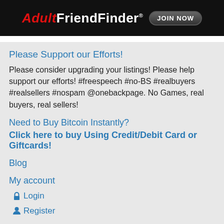[Figure (screenshot): AdultFriendFinder advertisement banner with JOIN NOW button on black background]
Please Support our Efforts!
Please consider upgrading your listings! Please help support our efforts! #freespeech #no-BS #realbuyers #realsellers #nospam @onebackpage. No Games, real buyers, real sellers!
Need to Buy Bitcoin Instantly?
Click here to buy Using Credit/Debit Card or Giftcards!
Blog
My account
Login
Register
Copyright (c) 2021 OneBackPage.com
OneBackPage.com is an interactive computer service that enables access by multiple users and should not be treated as the publisher...